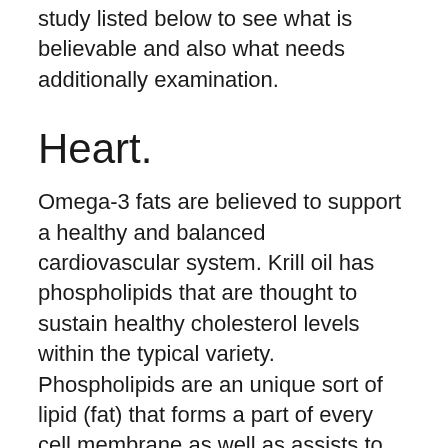study listed below to see what is believable and also what needs additionally examination.
Heart.
Omega-3 fats are believed to support a healthy and balanced cardiovascular system. Krill oil has phospholipids that are thought to sustain healthy cholesterol levels within the typical variety. Phospholipids are an unique sort of lipid (fat) that forms a part of every cell membrane as well as assists to control particles and also ions coming on as well as out of the cell. Krill Oil Plus contains 100mg of phospholipids in a common serving. The researches have actually shown a mix of